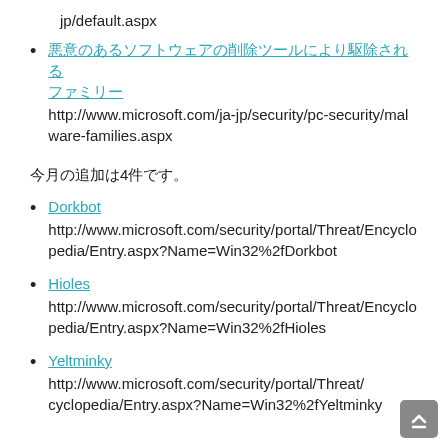jp/default.aspx
悪意のあるソフトウェアの削除ツールにより駆除されるファミリー
http://www.microsoft.com/ja-jp/security/pc-security/malware-families.aspx
今月の追加は4件です。
Dorkbot
http://www.microsoft.com/security/portal/Threat/Encyclopedia/Entry.aspx?Name=Win32%2fDorkbot
Hioles
http://www.microsoft.com/security/portal/Threat/Encyclopedia/Entry.aspx?Name=Win32%2fHioles
Yeltminky
http://www.microsoft.com/security/portal/Threat/Encyclopedia/Entry.aspx?Name=Win32%2fYeltminky